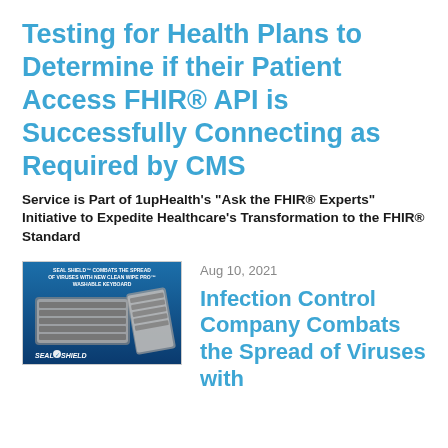Testing for Health Plans to Determine if their Patient Access FHIR® API is Successfully Connecting as Required by CMS
Service is Part of 1upHealth's "Ask the FHIR® Experts" Initiative to Expedite Healthcare's Transformation to the FHIR® Standard
[Figure (photo): Seal Shield keyboard product advertisement showing two washable keyboards with text 'SEAL SHIELD™ COMBATS THE SPREAD OF VIRUSES WITH NEW CLEAN WIPE PRO™ WASHABLE KEYBOARD' and Seal Shield logo]
Aug 10, 2021
Infection Control Company Combats the Spread of Viruses with